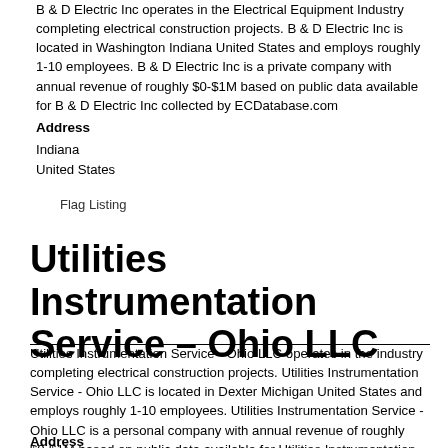B & D Electric Inc operates in the Electrical Equipment Industry completing electrical construction projects. B & D Electric Inc is located in Washington Indiana United States and employs roughly 1-10 employees. B & D Electric Inc is a private company with annual revenue of roughly $0-$1M based on public data available for B & D Electric Inc collected by ECDatabase.com
Address
Indiana
United States
Flag Listing
Utilities Instrumentation Service – Ohio LLC
Utilities Instrumentation Service - Ohio LLC operates in the industry completing electrical construction projects. Utilities Instrumentation Service - Ohio LLC is located in Dexter Michigan United States and employs roughly 1-10 employees. Utilities Instrumentation Service - Ohio LLC is a personal company with annual revenue of roughly $0-$1M based on public data available for Utilities Instrumentation Service - Ohio LLC collected by ECDatabase.com. The company self-description is as follows: UIS are field service Leaders for Electrical Services.
Address